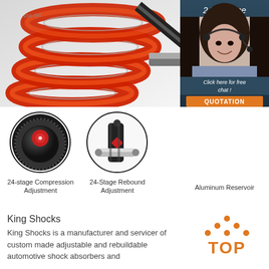[Figure (photo): Close-up photo of a red coilover suspension spring and shock absorber with metallic sheen and black rod]
[Figure (photo): 24/7 online customer service representative with headset, smiling, with dark teal overlay and 'Click here for free chat!' and orange QUOTATION button]
[Figure (photo): Circular close-up of 24-stage compression adjustment knob in black with red detail]
24-stage Compression Adjustment
[Figure (photo): Circular close-up of 24-Stage Rebound Adjustment T-bar fitting in black with red logo]
24-Stage Rebound Adjustment
Aluminum Reservoir
[Figure (logo): TOP logo with orange dots forming a triangle over the word TOP in orange]
King Shocks
King Shocks is a manufacturer and servicer of custom made adjustable and rebuildable automotive shock absorbers and